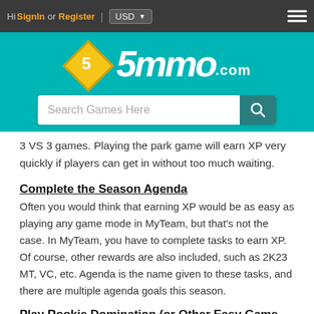Hi SignIn or Register | USD ▾
[Figure (logo): 5mmo.com logo with diamond shape containing number 5 and stylized text '5mmo.com' on teal background with search bar]
3 VS 3 games. Playing the park game will earn XP very quickly if players can get in without too much waiting.
Complete the Season Agenda
Often you would think that earning XP would be as easy as playing any game mode in MyTeam, but that's not the case. In MyTeam, you have to complete tasks to earn XP. Of course, other rewards are also included, such as 2K23 MT, VC, etc. Agenda is the name given to these tasks, and there are multiple agenda goals this season.
Play Rookie Domination (or Other Easy Game Modes)
Rookie Domination is very easy to knock out challenges, and there is usually a Spotlight challenge that makes certain XP challenges easier to